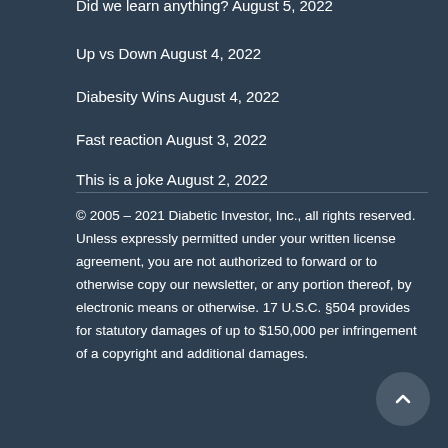Did we learn anything? August 5, 2022
Up vs Down August 4, 2022
Diabesity Wins August 4, 2022
Fast reaction August 3, 2022
This is a joke August 2, 2022
© 2005 – 2021 Diabetic Investor, Inc., all rights reserved. Unless expressly permitted under your written license agreement, you are not authorized to forward or to otherwise copy our newsletter, or any portion thereof, by electronic means or otherwise. 17 U.S.C. §504 provides for statutory damages of up to $150,000 per infringement of a copyright and additional damages.